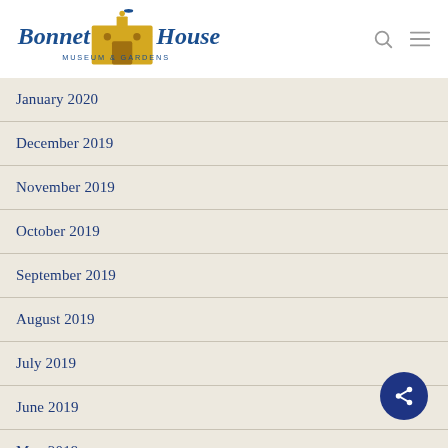Bonnet House Museum & Gardens
January 2020
December 2019
November 2019
October 2019
September 2019
August 2019
July 2019
June 2019
May 2019